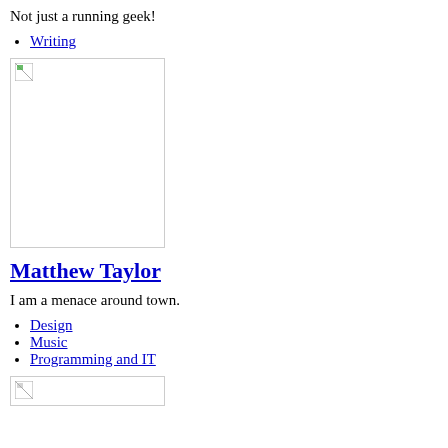Not just a running geek!
Writing
[Figure (photo): Broken image placeholder, approximately 155x190px with small broken image icon in top-left]
Matthew Taylor
I am a menace around town.
Design
Music
Programming and IT
[Figure (photo): Broken image placeholder, partially visible at bottom of page]